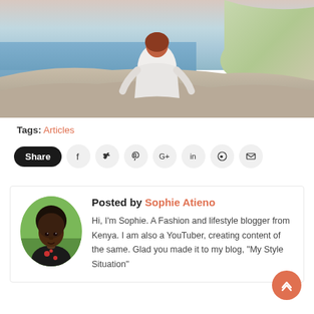[Figure (photo): A person with red/auburn hair in a white blouse sitting on rocky cliffs overlooking a blue sea, viewed from behind.]
Tags: Articles
[Figure (infographic): Social share bar with Share button and icons: Facebook, Twitter, Pinterest, Google+, LinkedIn, WhatsApp, Email]
Posted by Sophie Atieno
Hi, I'm Sophie. A Fashion and lifestyle blogger from Kenya. I am also a YouTuber, creating content of the same. Glad you made it to my blog, "My Style Situation"